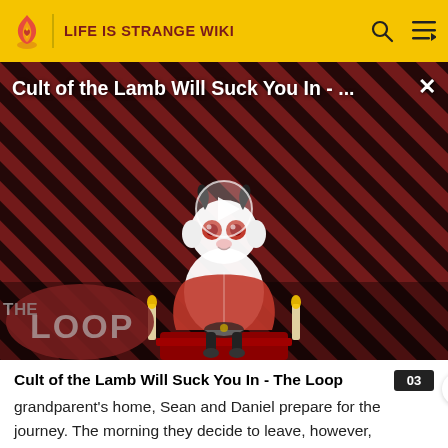LIFE IS STRANGE WIKI
[Figure (screenshot): Video thumbnail showing 'Cult of the Lamb Will Suck You In - The Loop' with a cartoon lamb character on a striped red/black background, a play button overlay, and 'THE LOOP' text badge in the lower left.]
Cult of the Lamb Will Suck You In - The Loop
grandparent's home, Sean and Daniel prepare for the journey. The morning they decide to leave, however, Mushroom is killed by a wildcat.
Kill th...